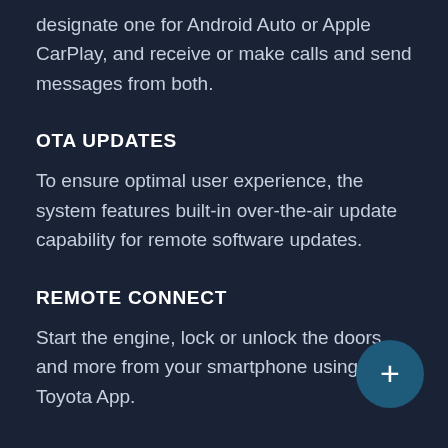designate one for Android Auto or Apple CarPlay, and receive or make calls and send messages from both.
OTA UPDATES
To ensure optimal user experience, the system features built-in over-the-air update capability for remote software updates.
REMOTE CONNECT
Start the engine, lock or unlock the doors and more from your smartphone using the Toyota App.